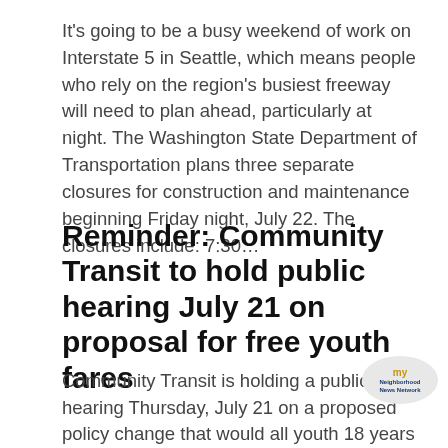It's going to be a busy weekend of work on Interstate 5 in Seattle, which means people who rely on the region's busiest freeway will need to plan ahead, particularly at night. The Washington State Department of Transportation plans three separate closures for construction and maintenance beginning Friday night, July 22. The closures include: 7:30…
Reminder: Community Transit to hold public hearing July 21 on proposal for free youth fares
Community Transit is holding a public hearing Thursday, July 21 on a proposed policy change that would all youth 18 years and younger to ride public transit f charge. If adopted by the Community Transit board, all youth will be eligible for free rides on all Community…